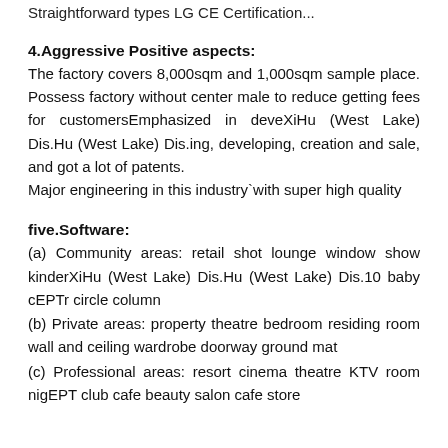Straightforward types LG CE Certification...
4.Aggressive Positive aspects:
The factory covers 8,000sqm and 1,000sqm sample place. Possess factory without center male to reduce getting fees for customersEmphasized in deveXiHu (West Lake) Dis.Hu (West Lake) Dis.ing, developing, creation and sale, and got a lot of patents.
Major engineering in this industry`with super high quality
five.Software:
(a) Community areas: retail shot lounge window show kinderXiHu (West Lake) Dis.Hu (West Lake) Dis.10 baby cEPTr circle column
(b) Private areas: property theatre bedroom residing room wall and ceiling wardrobe doorway ground mat
(c) Professional areas: resort cinema theatre KTV room nigEPT club cafe beauty salon cafe store